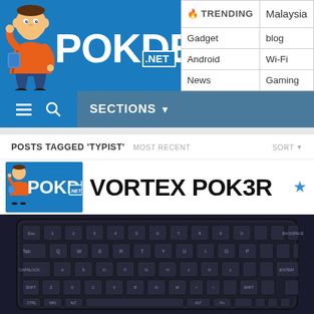[Figure (logo): Pokde.net website logo with mascot character on blue background]
|  |  |
| --- | --- |
| 🔥 TRENDING | Malaysia |
| Gadget | blog |
| Android | Wi-Fi |
| News | Gaming |
SECTIONS ▼
POSTS TAGGED 'TYPIST'
MOST RECENT
SORT ▼
[Figure (screenshot): Article thumbnail for Vortex POK3R keyboard review on Pokde.net - shows dark mechanical keyboard image with Pokde.net logo and VORTEX POK3R text with gold star]
MARCH 2, 2016